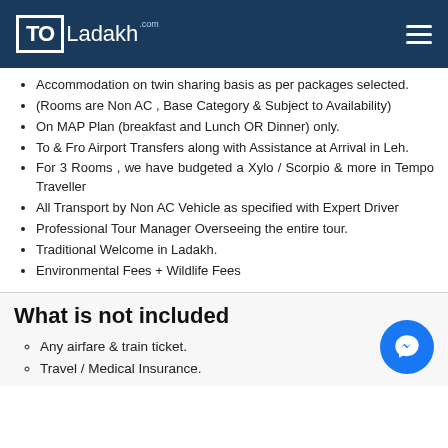TOLadakh.com
Accommodation on twin sharing basis as per packages selected.
(Rooms are Non AC , Base Category & Subject to Availability)
On MAP Plan (breakfast and Lunch OR Dinner) only.
To & Fro Airport Transfers along with Assistance at Arrival in Leh.
For 3 Rooms , we have budgeted a Xylo / Scorpio & more in Tempo Traveller
All Transport by Non AC Vehicle as specified with Expert Driver
Professional Tour Manager Overseeing the entire tour.
Traditional Welcome in Ladakh.
Environmental Fees + Wildlife Fees
What is not included
Any airfare & train ticket.
Travel / Medical Insurance.